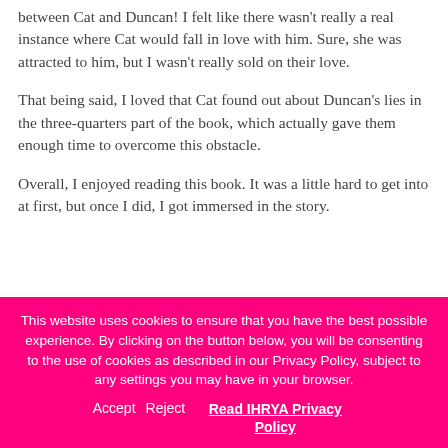between Cat and Duncan! I felt like there wasn't really a real instance where Cat would fall in love with him. Sure, she was attracted to him, but I wasn't really sold on their love.
That being said, I loved that Cat found out about Duncan's lies in the three-quarters part of the book, which actually gave them enough time to overcome this obstacle.
Overall, I enjoyed reading this book. It was a little hard to get into at first, but once I did, I got immersed in the story.
This website uses cookies to ensure that you have the best possible experience. By clicking on the button below, you will be consenting to the use of cookies as described in our Privacy Policy, subject to any settings you may have in your browser. Accept Reject Read IHRYA Privacy Policy